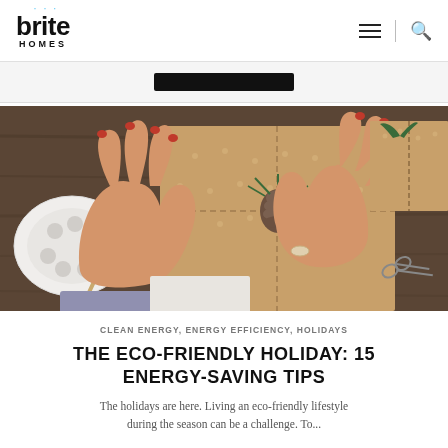brite HOMES
[Figure (photo): Hands with red nails arranging a pine cone decoration on kraft-paper wrapped gifts on a wooden table, with scissors and a white palette dish visible]
CLEAN ENERGY, ENERGY EFFICIENCY, HOLIDAYS
THE ECO-FRIENDLY HOLIDAY: 15 ENERGY-SAVING TIPS
The holidays are here. Living an eco-friendly lifestyle during the season can be a challenge. To...